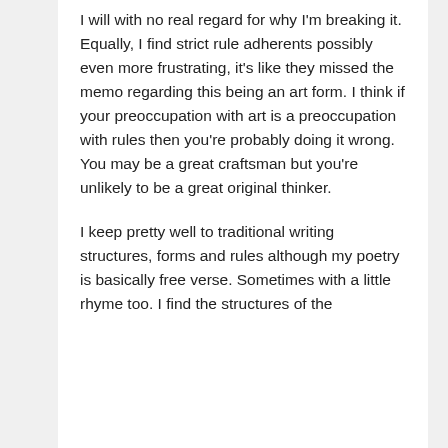I will with no real regard for why I'm breaking it. Equally, I find strict rule adherents possibly even more frustrating, it's like they missed the memo regarding this being an art form. I think if your preoccupation with art is a preoccupation with rules then you're probably doing it wrong. You may be a great craftsman but you're unlikely to be a great original thinker.
I keep pretty well to traditional writing structures, forms and rules although my poetry is basically free verse. Sometimes with a little rhyme too. I find the structures of the